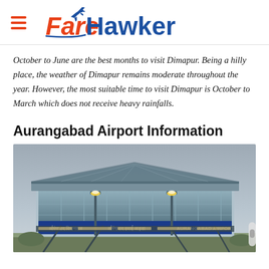FareHawker
October to June are the best months to visit Dimapur. Being a hilly place, the weather of Dimapur remains moderate throughout the year. However, the most suitable time to visit Dimapur is October to March which does not receive heavy rainfalls.
Aurangabad Airport Information
[Figure (photo): Photograph of Aurangabad Airport terminal building exterior at dusk/night, showing the illuminated terminal with signage reading 'AURANGABAD AIRPORT' in English and Hindi/Marathi scripts, glass facade, metal roof structure, and street lamps in the foreground.]